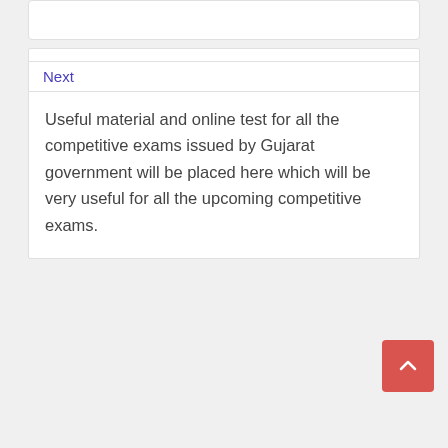Next
Useful material and online test for all the competitive exams issued by Gujarat government will be placed here which will be very useful for all the upcoming competitive exams.